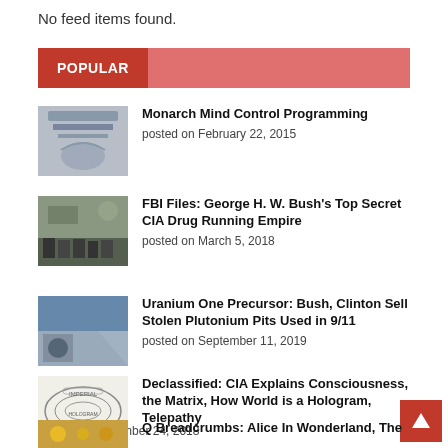No feed items found.
POPULAR
Monarch Mind Control Programming
posted on February 22, 2015
FBI Files: George H. W. Bush’s Top Secret CIA Drug Running Empire
posted on March 5, 2018
Uranium One Precursor: Bush, Clinton Sell Stolen Plutonium Pits Used in 9/11
posted on September 11, 2019
Declassified: CIA Explains Consciousness, the Matrix, How World is a Hologram, Telepathy
posted on December 24, 2018
Q Breadcrumbs: Alice In Wonderland, The